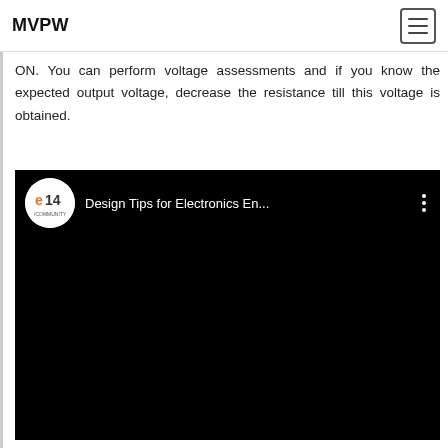MVPW
ON. You can perform voltage assessments and if you know the expected output voltage, decrease the resistance till this voltage is obtained.
[Figure (screenshot): Embedded video player thumbnail showing e14/community logo and title 'Design Tips for Electronics En...' on a black background with three-dot menu icon.]